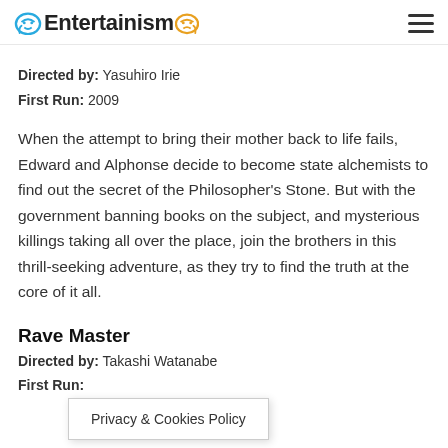Entertainism
Directed by: Yasuhiro Irie
First Run: 2009
When the attempt to bring their mother back to life fails, Edward and Alphonse decide to become state alchemists to find out the secret of the Philosopher's Stone. But with the government banning books on the subject, and mysterious killings taking all over the place, join the brothers in this thrill-seeking adventure, as they try to find the truth at the core of it all.
Rave Master
Directed by: Takashi Watanabe
First Run:
Privacy & Cookies Policy